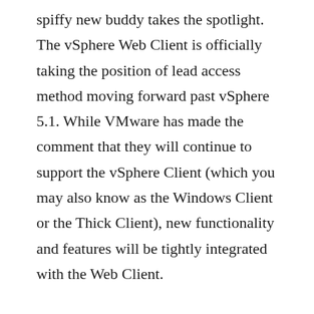spiffy new buddy takes the spotlight. The vSphere Web Client is officially taking the position of lead access method moving forward past vSphere 5.1. While VMware has made the comment that they will continue to support the vSphere Client (which you may also know as the Windows Client or the Thick Client), new functionality and features will be tightly integrated with the Web Client.
I'd highly advise that you begin getting comfortable with the Web Client. After using the vSphere Client for many years, I can say that the Web Client does take some getting used to –